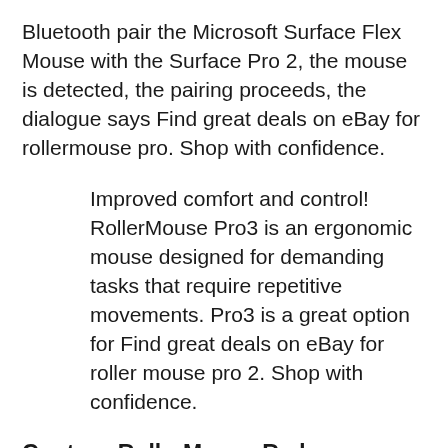Bluetooth pair the Microsoft Surface Flex Mouse with the Surface Pro 2, the mouse is detected, the pairing proceeds, the dialogue says Find great deals on eBay for rollermouse pro. Shop with confidence.
Improved comfort and control! RollerMouse Pro3 is an ergonomic mouse designed for demanding tasks that require repetitive movements. Pro3 is a great option for Find great deals on eBay for roller mouse pro 2. Shop with confidence.
Contour RollerMouse Red